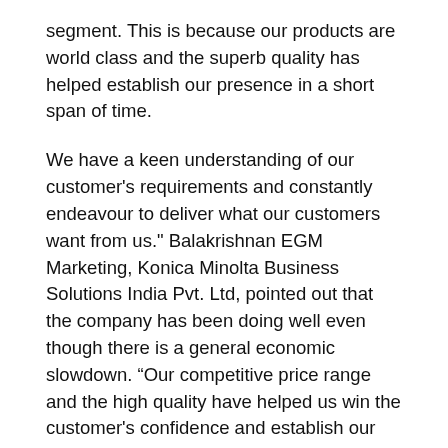segment. This is because our products are world class and the superb quality has helped establish our presence in a short span of time.
We have a keen understanding of our customer's requirements and constantly endeavour to deliver what our customers want from us." Balakrishnan EGM Marketing, Konica Minolta Business Solutions India Pvt. Ltd, pointed out that the company has been doing well even though there is a general economic slowdown. “Our competitive price range and the high quality have helped us win the customer's confidence and establish our brand. We always focus on customer requirements and strive to work closely with our customers.
This is our differentiator and has helped us to build quickly the channel network & address the market." Kuldeep Malhotra, EGM Sales, Sales & Managing Division, Konica Minolta Business Solutions India Pvt. Ltd. Said, “The newly launched range is remarkably because of the high image